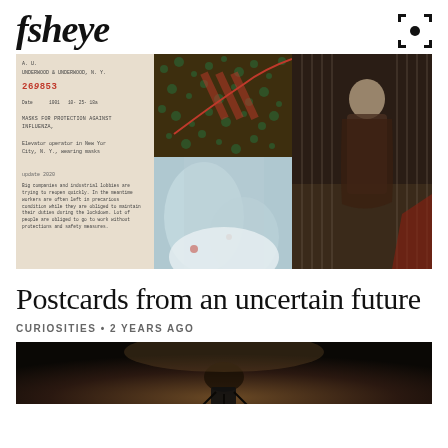fisheye
[Figure (photo): Collage of three images: left panel shows a vintage document about masks for protection against influenza with typed text and red serial number 269853, center panel shows a mixed-media collage with mosaic pattern in green/brown tones and a light blue fabric with red diagonal stripes, right panel shows a vintage photograph of a person in a long coat standing by vertical lines/curtains]
Postcards from an uncertain future
CURIOSITIES • 2 YEARS AGO
[Figure (photo): Dark atmospheric bottom image showing silhouettes against a moody brown and black background, partially visible at bottom of page]